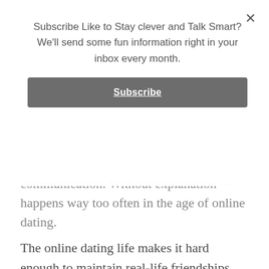Subscribe Like to Stay clever and Talk Smart? We'll send some fun information right in your inbox every month.
Subscribe
communication. Without explanation — happens way too often in the age of online dating.
The online dating life makes it hard enough to maintain real-life friendships and it's impossible to actually be friends with everyone you're friends with online. If you've met someone once and now you don't want to see them again, you usually end up ghosting them. But why do we do that? We spoke to some millennials to find out why they ghost people -